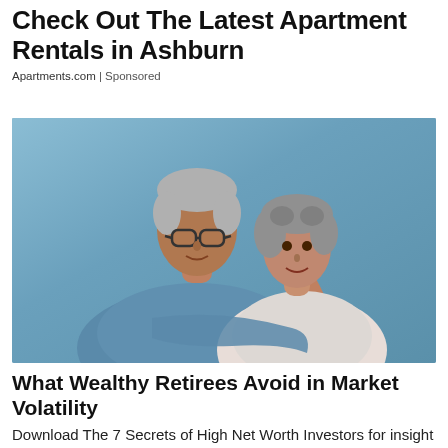Check Out The Latest Apartment Rentals in Ashburn
Apartments.com | Sponsored
[Figure (photo): An older couple smiling together against a blue wall. The man has gray hair and glasses, wearing a blue polo shirt. The woman has short curly gray hair, wearing a white shirt.]
What Wealthy Retirees Avoid in Market Volatility
Download The 7 Secrets of High Net Worth Investors for insight on how wealthy retirees have handled